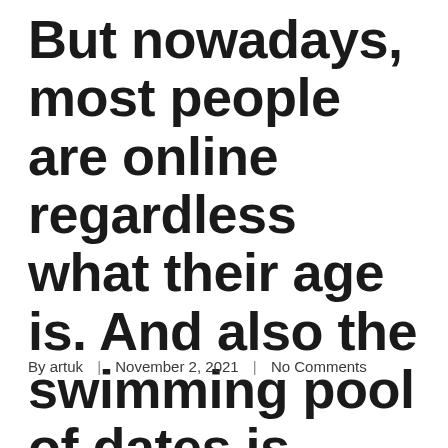But nowadays, most people are online regardless what their age is. And also the swimming pool of dates is actually virtually limitless.
By artuk | November 2, 2021 | No Comments